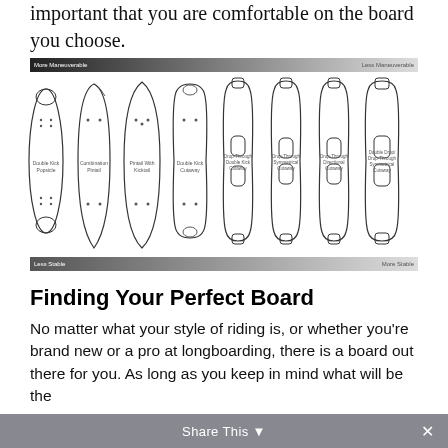important that you are comfortable on the board you choose.
[Figure (illustration): Diagram showing 8 longboard deck shapes arranged side by side with a gradient bar at top labeled 'More Maneuverable' to 'Less Maneuverable' and a gradient bar at bottom labeled 'Less Stable' to 'More Stable'. Board shapes include: Double Kick Popsicle, Combination Pintail, Pintail With Kicktail, Double Kick Cutaway, Drop-Through Double Kick Cutaway, Drop-Through Symmetrical Cutaway, Drop-Through Directional Cutaway, Double Drop/Drop-Through Symmetrical Cutaway.]
Finding Your Perfect Board
No matter what your style of riding is, or whether you're brand new or a pro at longboarding, there is a board out there for you. As long as you keep in mind what will be the
Share This